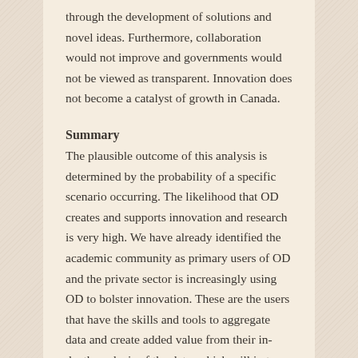through the development of solutions and novel ideas. Furthermore, collaboration would not improve and governments would not be viewed as transparent. Innovation does not become a catalyst of growth in Canada.
Summary
The plausible outcome of this analysis is determined by the probability of a specific scenario occurring. The likelihood that OD creates and supports innovation and research is very high. We have already identified the academic community as primary users of OD and the private sector is increasingly using OD to bolster innovation. These are the users that have the skills and tools to aggregate data and create added value from their in-depth analysis of the data, which will in turn provide heighten information, knowledge and wisdom to society. The release of OD is likely to create